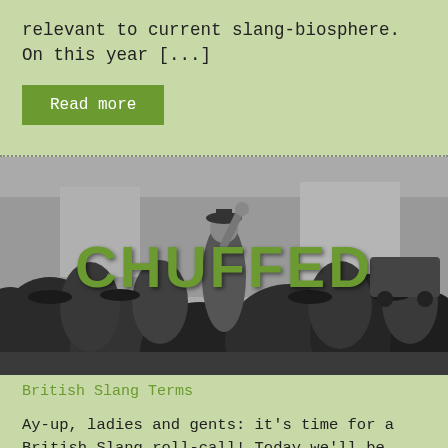relevant to current slang-biosphere. On this year [...]
Read more
[Figure (photo): Black and white historical photograph of a crowd of people, with a man in a bowler hat raising his fist in the center. The word CHUFFED is overlaid in large bold green text.]
British Slang Terms
Ay-up, ladies and gents: it's time for a British Slang roll-call! Today we'll be visiting our neighbors across